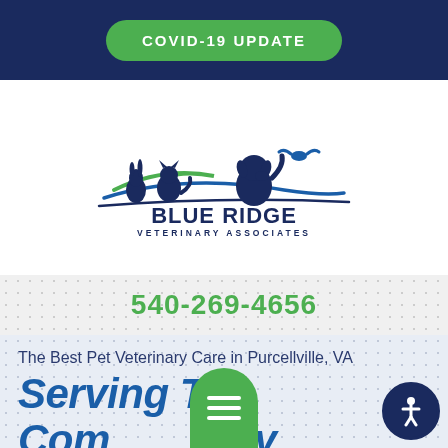COVID-19 UPDATE
[Figure (logo): Blue Ridge Veterinary Associates logo with silhouettes of a rabbit, cat, dog, and bird over stylized blue and green hills, with text BLUE RIDGE VETERINARY ASSOCIATES]
540-269-4656
The Best Pet Veterinary Care in Purcellville, VA
Serving the Community